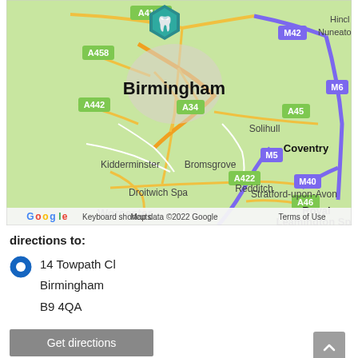[Figure (map): Google Map centered on Birmingham, UK showing surrounding areas including Kidderminster, Bromsgrove, Redditch, Droitwich Spa, Worcester, Solihull, Coventry, Stratford-upon-Avon, Royal Leamington Spa, with road labels A4123, A458, A442, A34, A45, M42, M6, M5, M40, A422, A46 and a teal dental marker pin over Birmingham. Bottom bar shows Google logo, Keyboard shortcuts, Map data ©2022 Google, Terms of Use.]
directions to:
14 Towpath Cl
Birmingham
B9 4QA
Get directions